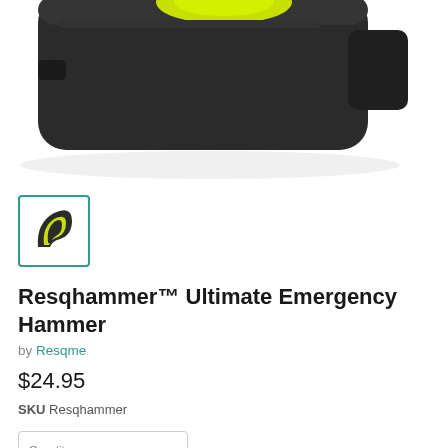[Figure (photo): Close-up of a black Resqhammer emergency hammer tool with yellow-green seatbelt cutter hook visible, shown at an angle against white background]
[Figure (photo): Small thumbnail image of the Resqhammer showing the yellow-green seatbelt cutter hook and black body]
Resqhammer™ Ultimate Emergency Hammer
by Resqme
$24.95
SKU Resqhammer
Quantity 1